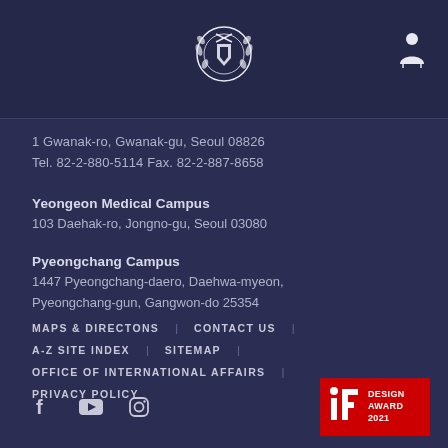[Figure (logo): Seoul National University emblem/crest in white on dark navy header]
1 Gwanak-ro, Gwanak-gu, Seoul 08826
Tel. 82-2-880-5114 Fax. 82-2-887-8658
Yeongeon Medical Campus
103 Daehak-ro, Jongno-gu, Seoul 03080
Pyeongchang Campus
1447 Pyeongchang-daero, Daehwa-myeon,
Pyeongchang-gun, Gangwon-do 25354
MAPS & DIRECTONS
CONTACT US
A-Z SITE INDEX
SITEMAP
OFFICE OF INTERNATIONAL AFFAIRS
PRIVACY POLICY
[Figure (logo): iF Design Award 2021 badge — red rectangle with white 'iF' logo and text DESIGN AWARD 2021]